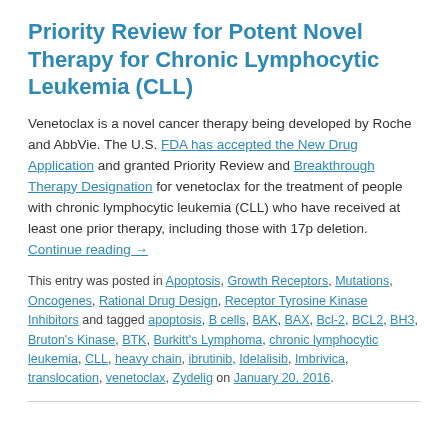Priority Review for Potent Novel Therapy for Chronic Lymphocytic Leukemia (CLL)
Venetoclax is a novel cancer therapy being developed by Roche and AbbVie. The U.S. FDA has accepted the New Drug Application and granted Priority Review and Breakthrough Therapy Designation for venetoclax for the treatment of people with chronic lymphocytic leukemia (CLL) who have received at least one prior therapy, including those with 17p deletion. Continue reading →
This entry was posted in Apoptosis, Growth Receptors, Mutations, Oncogenes, Rational Drug Design, Receptor Tyrosine Kinase Inhibitors and tagged apoptosis, B cells, BAK, BAX, Bcl-2, BCL2, BH3, Bruton's Kinase, BTK, Burkitt's Lymphoma, chronic lymphocytic leukemia, CLL, heavy chain, ibrutinib, Idelalisib, Imbrivica, translocation, venetoclax, Zydelig on January 20, 2016.